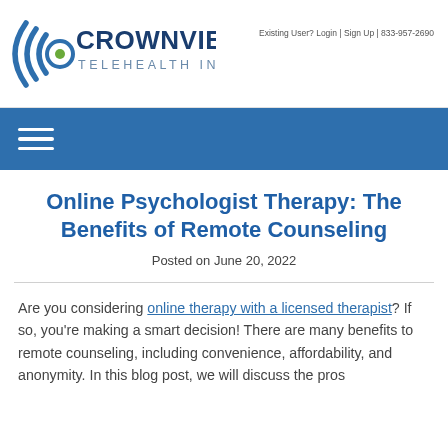Crownview Telehealth Institute | Existing User? Login | Sign Up | 833-957-2690
Online Psychologist Therapy: The Benefits of Remote Counseling
Posted on June 20, 2022
Are you considering online therapy with a licensed therapist? If so, you're making a smart decision! There are many benefits to remote counseling, including convenience, affordability, and anonymity. In this blog post, we will discuss the pros